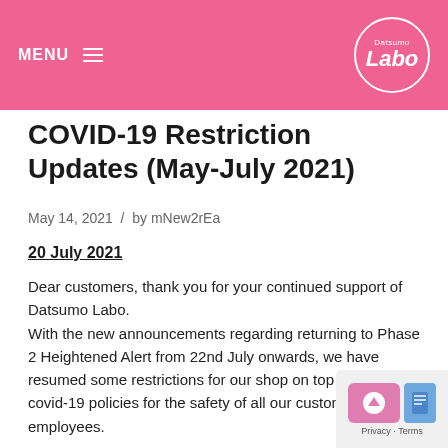MENU  Datsumo Labo
COVID-19 Restriction Updates (May-July 2021)
May 14, 2021  /  by mNew2rEa
20 July 2021
Dear customers, thank you for your continued support of Datsumo Labo.
With the new announcements regarding returning to Phase 2 Heightened Alert from 22nd July onwards, we have resumed some restrictions for our shop on top of current covid-19 policies for the safety of all our customers and employees.